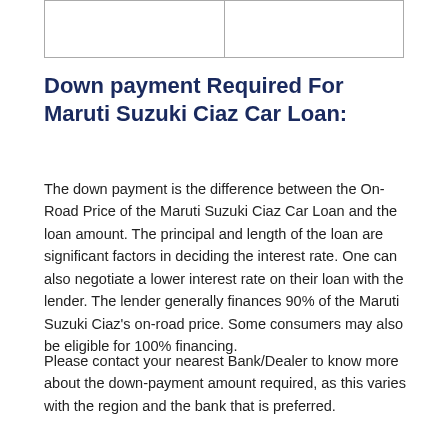|  |  |
Down payment Required For Maruti Suzuki Ciaz Car Loan:
The down payment is the difference between the On-Road Price of the Maruti Suzuki Ciaz Car Loan and the loan amount. The principal and length of the loan are significant factors in deciding the interest rate. One can also negotiate a lower interest rate on their loan with the lender. The lender generally finances 90% of the Maruti Suzuki Ciaz's on-road price. Some consumers may also be eligible for 100% financing.
Please contact your nearest Bank/Dealer to know more about the down-payment amount required, as this varies with the region and the bank that is preferred.